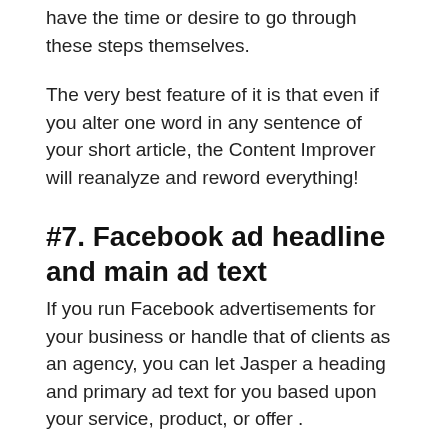have the time or desire to go through these steps themselves.
The very best feature of it is that even if you alter one word in any sentence of your short article, the Content Improver will reanalyze and reword everything!
#7. Facebook ad headline and main ad text
If you run Facebook advertisements for your business or handle that of clients as an agency, you can let Jasper a heading and primary ad text for you based upon your service, product, or offer .